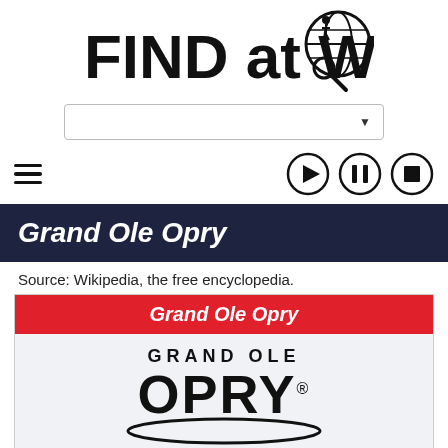[Figure (logo): FIND at WIKI logo with globe and magnifying glass icon]
[Figure (screenshot): Search bar dropdown UI element]
[Figure (screenshot): Navigation bar with hamburger menu and media control buttons (play, pause, stop)]
Grand Ole Opry
Source: Wikipedia, the free encyclopedia.
[Figure (logo): Grand Ole Opry infobox with red header 'Grand Ole Opry' and Grand Ole Opry logo showing GRAND OLE OPRY text with oval underline]